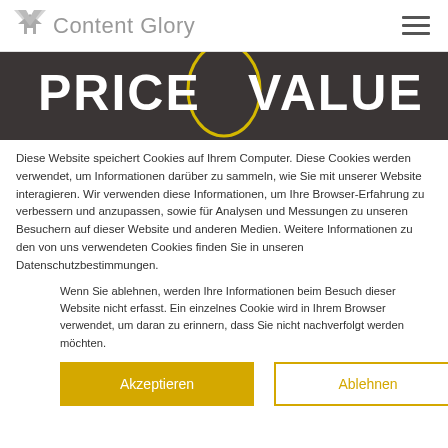Content Glory
[Figure (illustration): Dark banner image with white bold uppercase text 'PRICE VALUE' and a yellow oval outline between the two words]
Diese Website speichert Cookies auf Ihrem Computer. Diese Cookies werden verwendet, um Informationen darüber zu sammeln, wie Sie mit unserer Website interagieren. Wir verwenden diese Informationen, um Ihre Browser-Erfahrung zu verbessern und anzupassen, sowie für Analysen und Messungen zu unseren Besuchern auf dieser Website und anderen Medien. Weitere Informationen zu den von uns verwendeten Cookies finden Sie in unseren Datenschutzbestimmungen.
Wenn Sie ablehnen, werden Ihre Informationen beim Besuch dieser Website nicht erfasst. Ein einzelnes Cookie wird in Ihrem Browser verwendet, um daran zu erinnern, dass Sie nicht nachverfolgt werden möchten.
Akzeptieren | Ablehnen